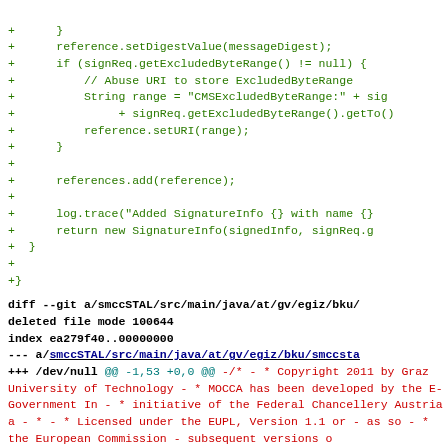Code diff showing added lines with reference.setDigestValue, signReq.getExcludedByteRange checks, references.add, log.trace, and return new SignatureInfo
diff --git a/smccSTAL/src/main/java/at/gv/egiz/bku/ deleted file mode 100644 index ea279f40..00000000 --- a/smccSTAL/src/main/java/at/gv/egiz/bku/smccsta +++ /dev/null @@ -1,53 +0,0 @@ -/* - * Copyright 2011 by Graz University of Technology - * MOCCA has been developed by the E-Government In - * initiative of the Federal Chancellery Austria a - * - * Licensed under the EUPL, Version 1.1 or - as so - * the European Commission - subsequent versions o